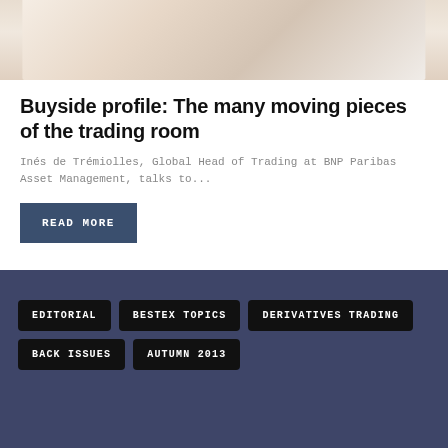[Figure (photo): Partial view of a person, cropped at top of page, showing upper body in white clothing]
Buyside profile: The many moving pieces of the trading room
Inés de Trémiolles, Global Head of Trading at BNP Paribas Asset Management, talks to...
READ MORE
EDITORIAL
BESTEX TOPICS
DERIVATIVES TRADING
BACK ISSUES
AUTUMN 2013